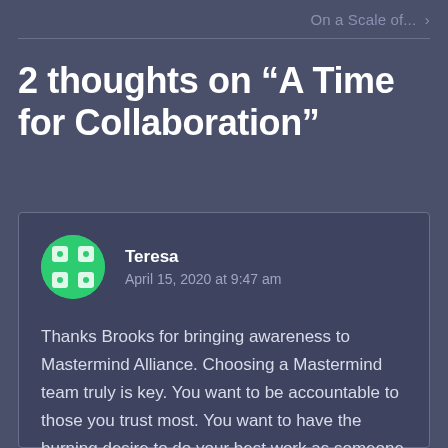On a Scale of... ›
2 thoughts on “A Time for Collaboration”
Teresa
April 15, 2020 at 9:47 am

Thanks Brooks for bringing awareness to Mastermind Alliance. Choosing a Mastermind team truly is key. You want to be accountable to those you trust most. You want to have the burning desire to do your best work as someone sees that you...